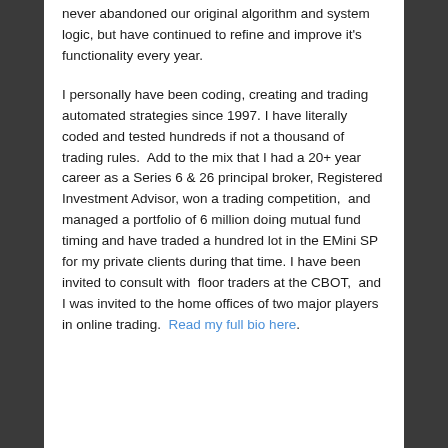never abandoned our original algorithm and system logic, but have continued to refine and improve it's functionality every year.
I personally have been coding, creating and trading automated strategies since 1997. I have literally coded and tested hundreds if not a thousand of trading rules.  Add to the mix that I had a 20+ year career as a Series 6 & 26 principal broker, Registered Investment Advisor, won a trading competition,  and managed a portfolio of 6 million doing mutual fund timing and have traded a hundred lot in the EMini SP for my private clients during that time. I have been invited to consult with  floor traders at the CBOT,  and I was invited to the home offices of two major players in online trading.  Read my full bio here.